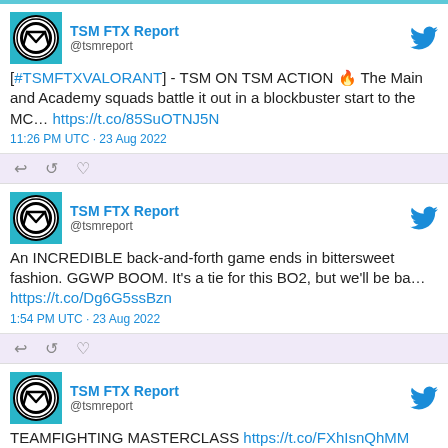[Figure (screenshot): TSM FTX Report Twitter profile logo - circular TSM logo on teal background]
TSM FTX Report @tsmreport
[#TSMFTXVALORANT] - TSM ON TSM ACTION 🔥 The Main and Academy squads battle it out in a blockbuster start to the MC… https://t.co/85SuOTNJ5N
11:26 PM UTC · 23 Aug 2022
[Figure (screenshot): TSM FTX Report Twitter profile logo - circular TSM logo on teal background]
TSM FTX Report @tsmreport
An INCREDIBLE back-and-forth game ends in bittersweet fashion. GGWP BOOM. It's a tie for this BO2, but we'll be ba… https://t.co/Dg6G5ssBzn
1:54 PM UTC · 23 Aug 2022
[Figure (screenshot): TSM FTX Report Twitter profile logo - circular TSM logo on teal background]
TSM FTX Report @tsmreport
TEAMFIGHTING MASTERCLASS https://t.co/FXhIsnQhMM